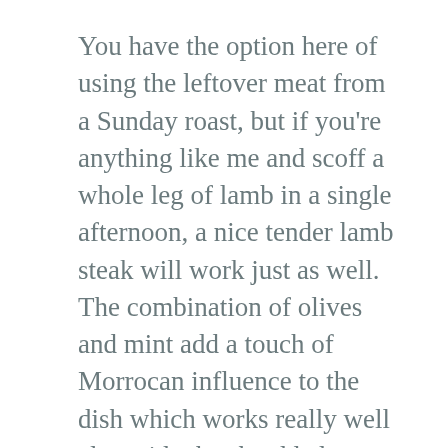You have the option here of using the leftover meat from a Sunday roast, but if you're anything like me and scoff a whole leg of lamb in a single afternoon, a nice tender lamb steak will work just as well. The combination of olives and mint add a touch of Morrocan influence to the dish which works really well alongside the shredded sweet potato.
Ingredients
Lamb steak
Quarter of sweet potato